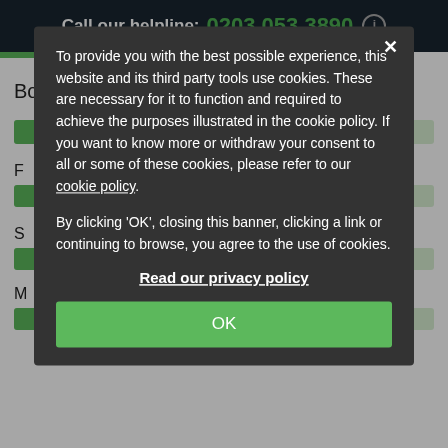Call our helpline: 0203 053 3890
Bonuses (33%)
To provide you with the best possible experience, this website and its third party tools use cookies. These are necessary for it to function and required to achieve the purposes illustrated in the cookie policy. If you want to know more or withdraw your consent to all or some of these cookies, please refer to our cookie policy.

By clicking 'OK', closing this banner, clicking a link or continuing to browse, you agree to the use of cookies.
Read our privacy policy
OK